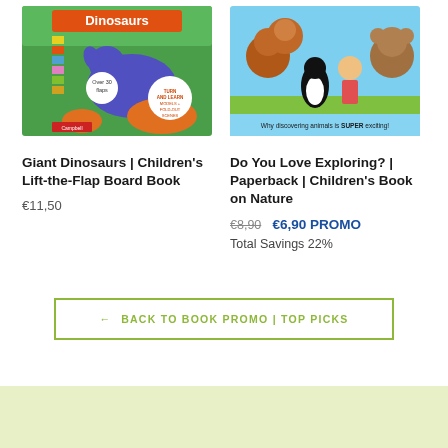[Figure (illustration): Children's board book cover: Giant Dinosaurs with colorful dinosaur illustration on green background]
Giant Dinosaurs | Children's Lift-the-Flap Board Book
€11,50
[Figure (illustration): Children's paperback book cover: Do You Love Exploring? with animals illustration on teal background]
Do You Love Exploring? | Paperback | Children's Book on Nature
€8,90  €6,90 PROMO
Total Savings 22%
← BACK TO BOOK PROMO | TOP PICKS